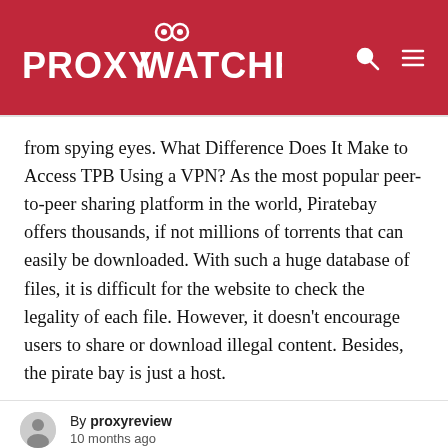PROXY WATCHER
from spying eyes. What Difference Does It Make to Access TPB Using a VPN? As the most popular peer-to-peer sharing platform in the world, Piratebay offers thousands, if not millions of torrents that can easily be downloaded. With such a huge database of files, it is difficult for the website to check the legality of each file. However, it doesn't encourage users to share or download illegal content. Besides, the pirate bay is just a host.
By proxyreview
10 months ago